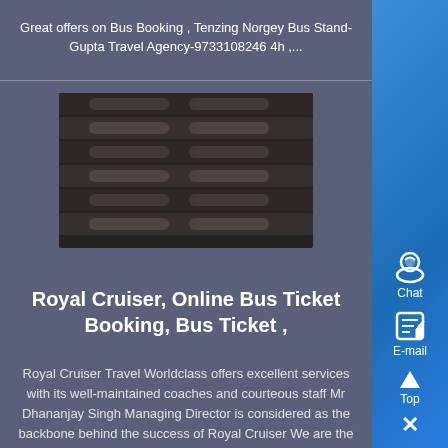Great offers on Bus Booking , Tenzing Norgey Bus Stand-Gupta Travel Agency-9733108246 4h ,...
[Figure (photo): Close-up photo of stacked rolled items, dark tones]
Royal Cruiser, Online Bus Ticket Booking, Bus Ticket ,
Royal Cruiser Travel Worldclass offers excellent services with its well-maintained coaches and courteous staff Mr Dhananjay Singh Managing Director is considered as the backbone behind the success of Royal Cruiser We are the ,...
[Figure (photo): Photo of construction site or bus stand infrastructure with metal railings and structures]